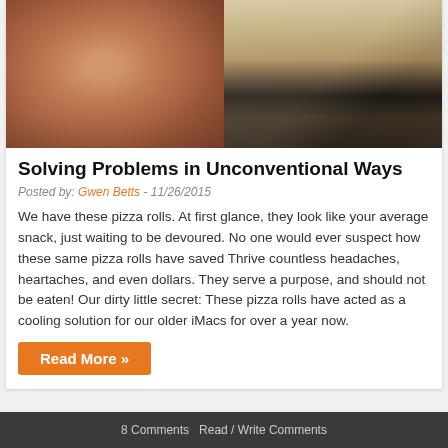[Figure (photo): Two side-by-side photos: left shows a close-up selfie of a woman with reddish-brown hair; right shows a person at a desk with a computer monitor.]
Solving Problems in Unconventional Ways
Posted by: Gwen Betts - 11/26/2015
We have these pizza rolls. At first glance, they look like your average snack, just waiting to be devoured. No one would ever suspect how these same pizza rolls have saved Thrive countless headaches, heartaches, and even dollars. They serve a purpose, and should not be eaten! Our dirty little secret: These pizza rolls have acted as a cooling solution for our older iMacs for over a year now.
Read More »
8 Comments   Read / Write Comments